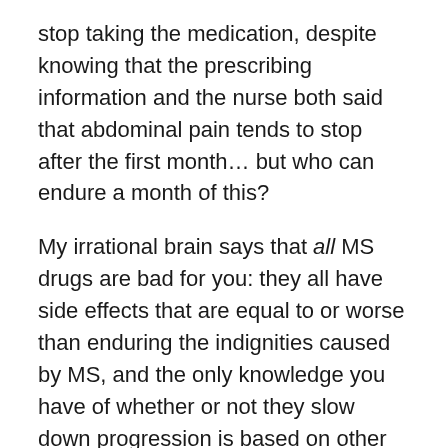stop taking the medication, despite knowing that the prescribing information and the nurse both said that abdominal pain tends to stop after the first month… but who can endure a month of this?
My irrational brain says that all MS drugs are bad for you: they all have side effects that are equal to or worse than enduring the indignities caused by MS, and the only knowledge you have of whether or not they slow down progression is based on other people's MRIs, not your own. Sure, you get an MRI every year or so, but every time you get one, there are more lesions, so you just hope that the drug is making it a smaller number than it would have been.
People with MS continue to develop lesions with ALL of the MS drugs on the market. We still have relapses